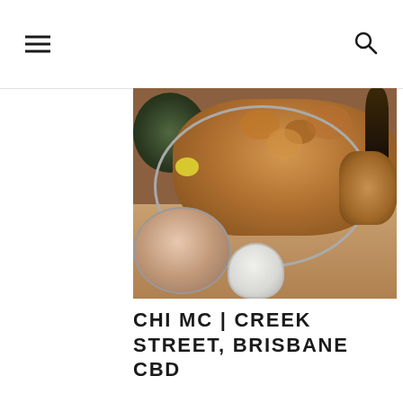[Figure (photo): Top-down photograph of Asian food spread on a wooden table including a large platter of fried chicken pieces, a dark plate with leafy greens, a bowl of pink/orange salad, a small white bowl, and a wine bottle in the background]
CHI MC | CREEK STREET, BRISBANE CBD